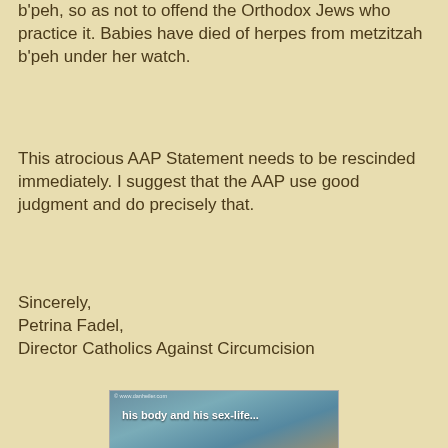b'peh, so as not to offend the Orthodox Jews who practice it. Babies have died of herpes from metzitzah b'peh under her watch.
This atrocious AAP Statement needs to be rescinded immediately. I suggest that the AAP use good judgment and do precisely that.
Sincerely,
Petrina Fadel,
Director Catholics Against Circumcision
[Figure (photo): Photo of surgical scissors/clamps on a blue surgical drape with a baby's foot visible, overlaid with text: '© www.danheiler.com', 'his body and his sex-life...', 'aren't his anymore.', 'Circumcision. The more you know, the more you're against it. CIRP.org  Intact Health.org  Saving Sons.org']